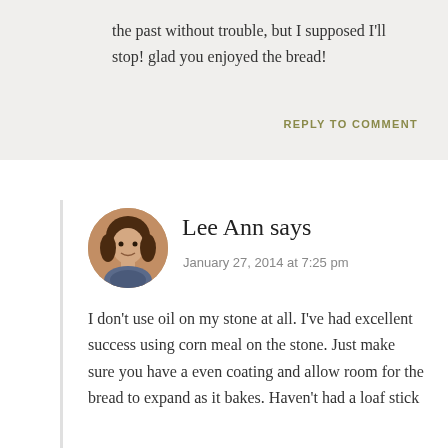the past without trouble, but I supposed I'll stop! glad you enjoyed the bread!
REPLY TO COMMENT
Lee Ann says
January 27, 2014 at 7:25 pm
I don't use oil on my stone at all. I've had excellent success using corn meal on the stone. Just make sure you have a even coating and allow room for the bread to expand as it bakes. Haven't had a loaf stick